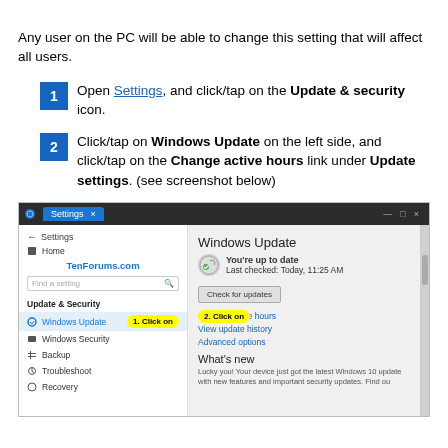Any user on the PC will be able to change this setting that will affect all users.
Open Settings, and click/tap on the Update & security icon.
Click/tap on Windows Update on the left side, and click/tap on the Change active hours link under Update settings. (see screenshot below)
[Figure (screenshot): Windows Settings screenshot showing Windows Update panel. Left sidebar shows Update & Security section with Windows Update highlighted and a yellow callout '1. Click on'. Right panel shows Windows Update with 'You're up to date' status, Check for updates button, Change active hours link with yellow callout '2. Click on', View update history, Advanced options, and What's new section.]